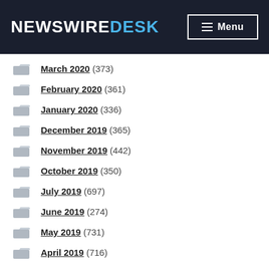NewswireDesk — Menu
March 2020 (373)
February 2020 (361)
January 2020 (336)
December 2019 (365)
November 2019 (442)
October 2019 (350)
July 2019 (697)
June 2019 (274)
May 2019 (731)
April 2019 (716)